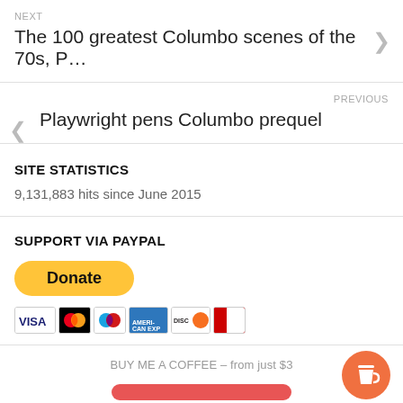NEXT
The 100 greatest Columbo scenes of the 70s, P…
PREVIOUS
Playwright pens Columbo prequel
SITE STATISTICS
9,131,883 hits since June 2015
SUPPORT VIA PAYPAL
[Figure (other): PayPal Donate button (yellow pill shape) with credit card icons (Visa, Mastercard, Maestro, Amex, Discover, UnionPay) below]
BUY ME A COFFEE – from just $3
[Figure (other): Orange circular coffee cup icon button]